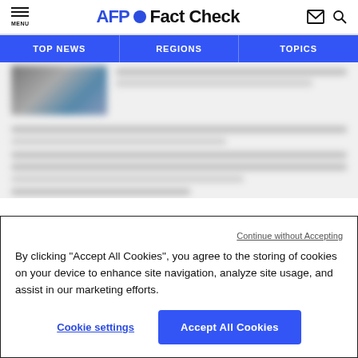AFP Fact Check
TOP NEWS | REGIONS | TOPICS
[Figure (screenshot): Blurred/redacted news article content with thumbnail image]
Continue without Accepting
By clicking “Accept All Cookies”, you agree to the storing of cookies on your device to enhance site navigation, analyze site usage, and assist in our marketing efforts.
Cookie settings
Accept All Cookies